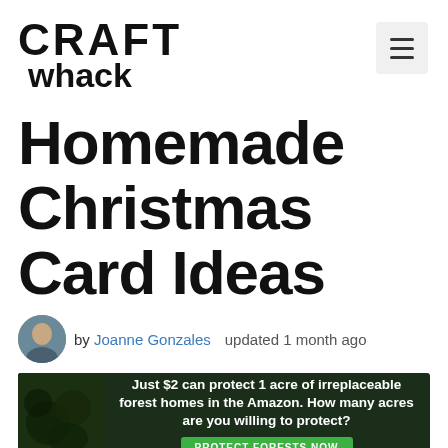[Figure (logo): Craft Whack logo: CRAFT in bold block letters, whack in cursive below]
Homemade Christmas Card Ideas
by Joanne Gonzales   updated 1 month ago
[Figure (infographic): Green forest ad banner: Just $2 can protect 1 acre of irreplaceable forest homes in the Amazon. How many acres are you willing to protect? PROTECT FORESTS NOW]